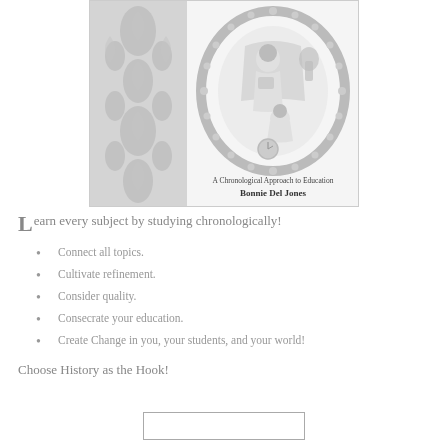[Figure (illustration): Book cover illustration showing a woman seated in a chair reading with a child at her feet, surrounded by an oval decorative frame. The left portion has an ornate floral/damask pattern. Below the illustration reads 'A Chronological Approach to Education' and 'Bonnie Del Jones'.]
Learn every subject by studying chronologically!
Connect all topics.
Cultivate refinement.
Consider quality.
Consecrate your education.
Create Change in you, your students, and your world!
Choose History as the Hook!
[Figure (other): A rectangular box/button at the bottom center of the page.]